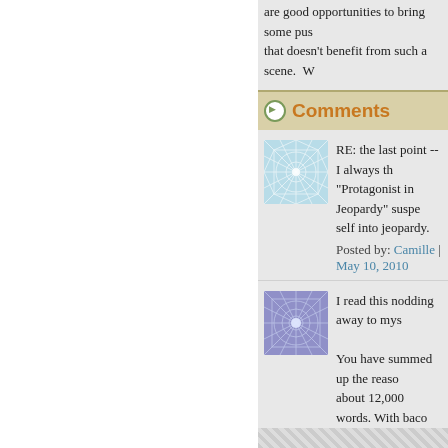are good opportunities to bring some pus... that doesn't benefit from such a scene.  W...
Comments
RE: the last point -- I always th... "Protagonist in Jeopardy" suspe... self into jeopardy.
Posted by: Camille | May 10, 2010
I read this nodding away to mys...
You have summed up the reaso... about 12,000 words. With baco... heroine, alas, was the hen and...
Posted by: Lexi Revellian | May 12...
The more brilliant the amateur s...
Posted by: Irv Sternberg | June 30...
The comments to this entry are closed.